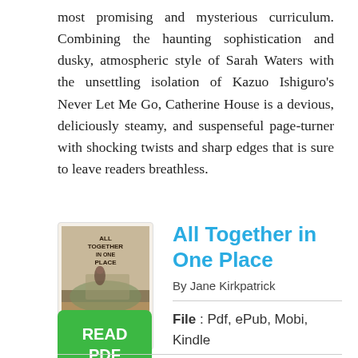most promising and mysterious curriculum. Combining the haunting sophistication and dusky, atmospheric style of Sarah Waters with the unsettling isolation of Kazuo Ishiguro's Never Let Me Go, Catherine House is a devious, deliciously steamy, and suspenseful page-turner with shocking twists and sharp edges that is sure to leave readers breathless.
[Figure (illustration): Book cover of 'All Together in One Place' by Jane Kirkpatrick showing a figure and landscape scene]
All Together in One Place
By Jane Kirkpatrick
File : Pdf, ePub, Mobi, Kindle
[Figure (other): Green READ PDF button]